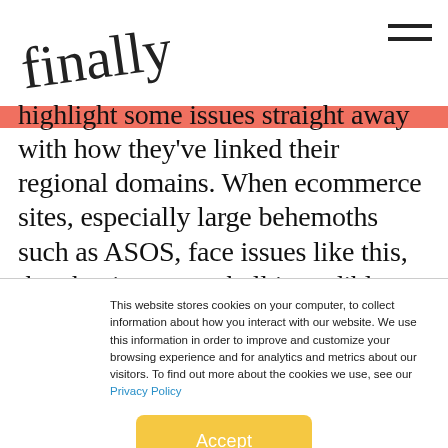finally [logo/wordmark]
highlight some issues straight away with how they've linked their regional domains. When ecommerce sites, especially large behemoths such as ASOS, face issues like this, they begin to snowball incredibly fast.
This website stores cookies on your computer, to collect information about how you interact with our website. We use this information in order to improve and customize your browsing experience and for analytics and metrics about our visitors. To find out more about the cookies we use, see our Privacy Policy
Accept